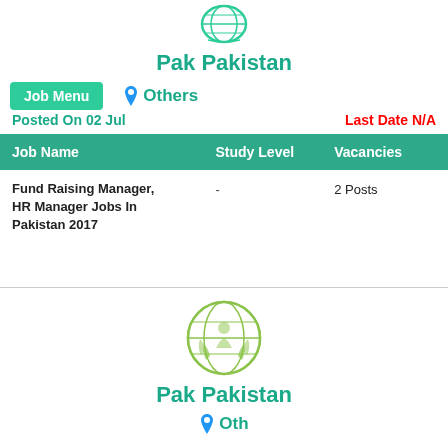[Figure (logo): Circular green globe/laurel logo for Pak Pakistan]
Pak Pakistan
Job Menu
Others
Posted On 02 Jul
Last Date N/A
| Job Name | Study Level | Vacancies |
| --- | --- | --- |
| Fund Raising Manager, HR Manager Jobs In Pakistan 2017 | - | 2 Posts |
[Figure (logo): Circular green globe/laurel logo for Pak Pakistan (second instance)]
Pak Pakistan
Others